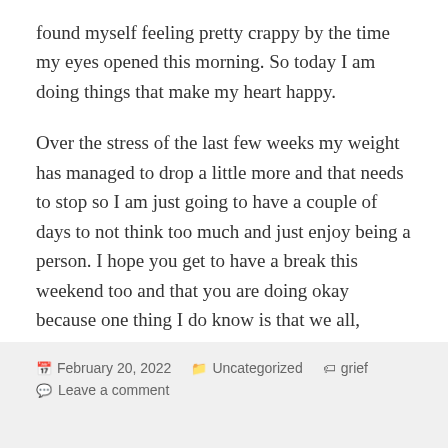found myself feeling pretty crappy by the time my eyes opened this morning. So today I am doing things that make my heart happy.
Over the stress of the last few weeks my weight has managed to drop a little more and that needs to stop so I am just going to have a couple of days to not think too much and just enjoy being a person. I hope you get to have a break this weekend too and that you are doing okay because one thing I do know is that we all, always have things that are going on in our lives.
Written Friday February 18th 2022
February 20, 2022   Uncategorized   grief   Leave a comment